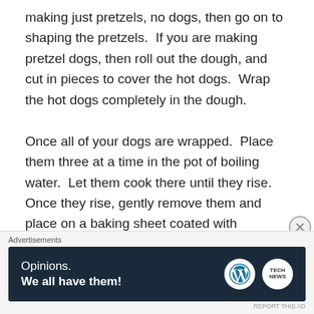making just pretzels, no dogs, then go on to shaping the pretzels.  If you are making pretzel dogs, then roll out the dough, and cut in pieces to cover the hot dogs.  Wrap the hot dogs completely in the dough.
Once all of your dogs are wrapped.  Place them three at a time in the pot of boiling water.  Let them cook there until they rise.  Once they rise, gently remove them and place on a baking sheet coated with nonstick spray or parchment paper.  Dust with salt if ya like.  Repeat for the rest of your dogs.
Once all of your dogs are on the baking sheet, then bake for 30 minutes or until the hot dogs reach at least 160 and the pretzel dough is golden brown.  The dough browns
[Figure (other): Advertisement banner for WordPress/Opinions with text 'Opinions. We all have them!' and WordPress logo and another circular logo on dark navy background.]